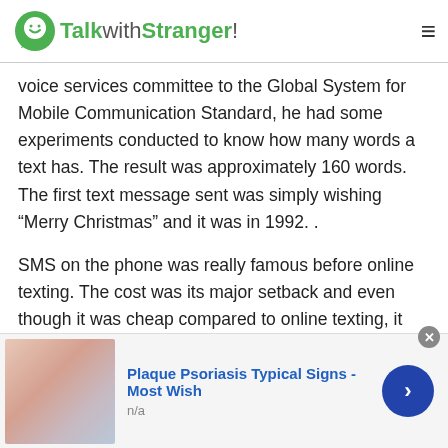TalkwithStranger!
voice services committee to the Global System for Mobile Communication Standard, he had some experiments conducted to know how many words a text has. The result was approximately 160 words. The first text message sent was simply wishing “Merry Christmas” and it was in 1992. .
SMS on the phone was really famous before online texting. The cost was its major setback and even though it was cheap compared to online texting, it still is expensive from Czech Free Texting Online. The latest, effective, efficient, time saving and famous mode of communicatio…
[Figure (screenshot): Advertisement banner: image of skin condition on left, bold blue text 'Plaque Psoriasis Typical Signs - Most Wish', subtext 'n/a', close button (x), blue arrow button on right.]